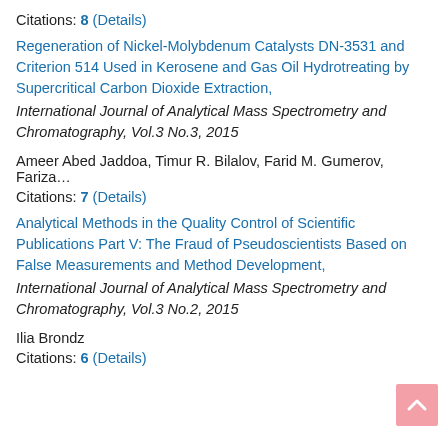Citations: 8 (Details)
Regeneration of Nickel-Molybdenum Catalysts DN-3531 and Criterion 514 Used in Kerosene and Gas Oil Hydrotreating by Supercritical Carbon Dioxide Extraction, International Journal of Analytical Mass Spectrometry and Chromatography, Vol.3 No.3, 2015
Ameer Abed Jaddoa, Timur R. Bilalov, Farid M. Gumerov, Fariza...
Citations: 7 (Details)
Analytical Methods in the Quality Control of Scientific Publications Part V: The Fraud of Pseudoscientists Based on False Measurements and Method Development, International Journal of Analytical Mass Spectrometry and Chromatography, Vol.3 No.2, 2015
Ilia Brondz
Citations: 6 (Details)